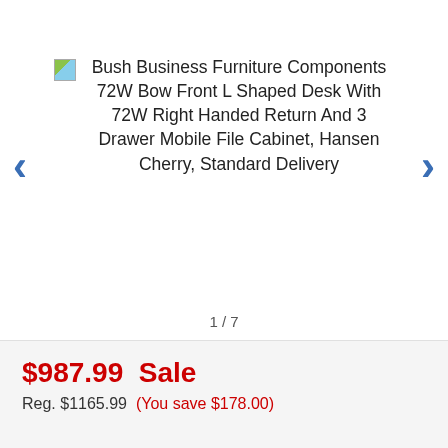[Figure (photo): Product image placeholder (broken image icon) for Bush Business Furniture Components 72W Bow Front L Shaped Desk With 72W Right Handed Return And 3 Drawer Mobile File Cabinet, Hansen Cherry, Standard Delivery]
1 / 7
$987.99  Sale
Reg. $1165.99  (You save $178.00)